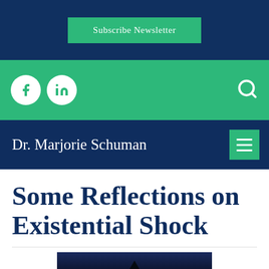Subscribe Newsletter
[Figure (screenshot): Green social bar with Facebook and LinkedIn circle icons on the left and a search icon on the right]
Dr. Marjorie Schuman
Some Reflections on Existential Shock
[Figure (photo): Night sky photo with dark tree silhouette]